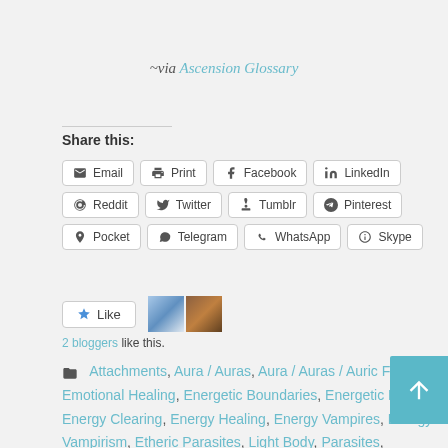~via Ascension Glossary
Share this:
Email, Print, Facebook, LinkedIn, Reddit, Twitter, Tumblr, Pinterest, Pocket, Telegram, WhatsApp, Skype
2 bloggers like this.
Attachments, Aura / Auras, Aura / Auras / Auric Field, Emotional Healing, Energetic Boundaries, Energetic Parasites, Energy Clearing, Energy Healing, Energy Vampires, Energy Vampirism, Etheric Parasites, Light Body, Parasites, Parasitism, Psychic Self-Defense, Self-Protection, Sex /